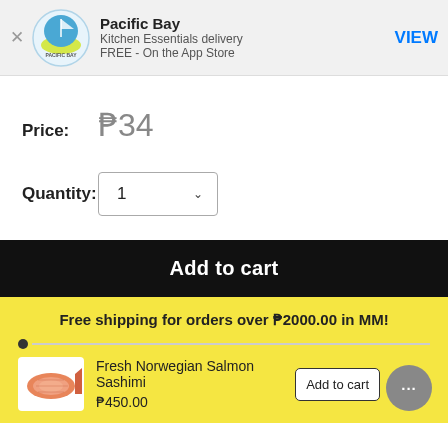[Figure (logo): Pacific Bay app banner with logo, app name, Kitchen Essentials delivery, FREE - On the App Store, and VIEW button]
Price: ₱34
Quantity: 1
Add to cart
Free shipping for orders over ₱2000.00 in MM!
[Figure (photo): Fresh Norwegian Salmon Sashimi product image]
Fresh Norwegian Salmon Sashimi ₱450.00
Add to cart